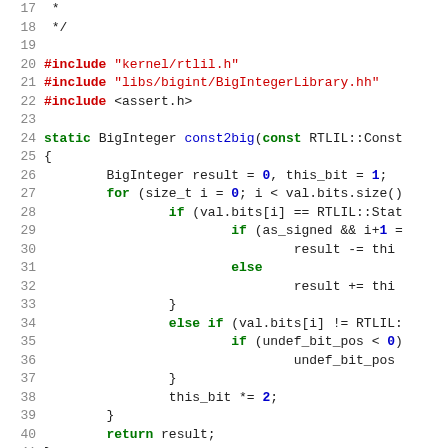Source code listing, lines 17-46, C++ file using BigInteger and RTLIL libraries